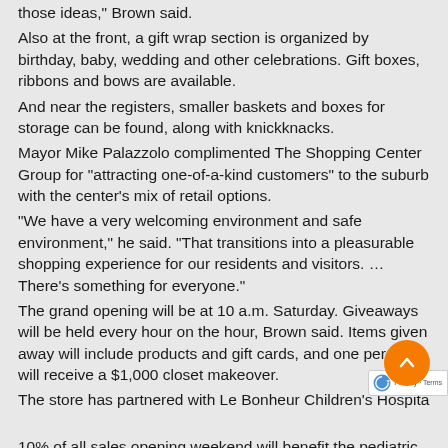those ideas," Brown said.
Also at the front, a gift wrap section is organized by birthday, baby, wedding and other celebrations. Gift boxes, ribbons and bows are available.
And near the registers, smaller baskets and boxes for storage can be found, along with knickknacks.
Mayor Mike Palazzolo complimented The Shopping Center Group for “attracting one-of-a-kind customers” to the suburb with the center’s mix of retail options.
“We have a very welcoming environment and safe environment,” he said. “That transitions into a pleasurable shopping experience for our residents and visitors. … There’s something for everyone.”
The grand opening will be at 10 a.m. Saturday. Giveaways will be held every hour on the hour, Brown said. Items given away will include products and gift cards, and one person will receive a $1,000 closet makeover.
The store has partnered with Le Bonheur Children’s Hospital and 10% of all sales opening weekend will benefit the pediatric hospital.
Hours will be 10 a.m. to 9 p.m. Monday-Saturday and 11 a.m. to 6